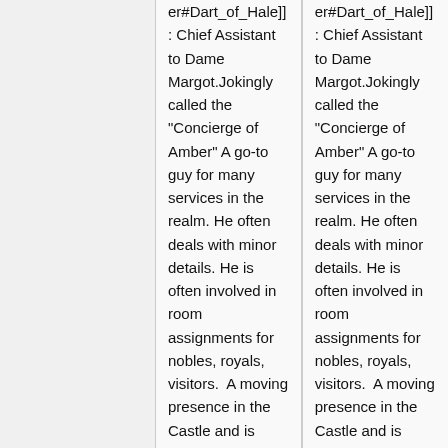er#Dart_of_Hale]]: Chief Assistant to Dame Margot.Jokingly called the "Concierge of Amber" A go-to guy for many services in the realm. He often deals with minor details. He is often involved in room assignments for nobles, royals, visitors.  A moving presence in the Castle and is often the person to ask advice of.  He was born on
er#Dart_of_Hale]]: Chief Assistant to Dame Margot.Jokingly called the "Concierge of Amber" A go-to guy for many services in the realm. He often deals with minor details. He is often involved in room assignments for nobles, royals, visitors.  A moving presence in the Castle and is often the person to ask advice of.  He was born on